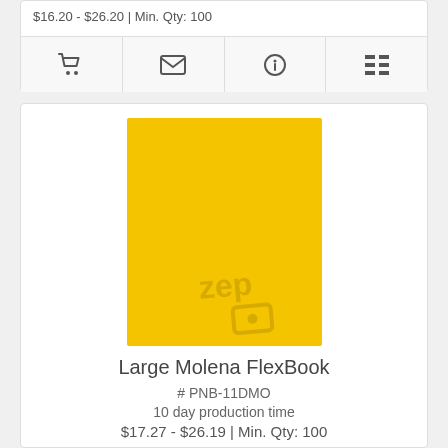$16.20 - $26.20 | Min. Qty: 100
[Figure (illustration): Icon bar with four icons: shopping cart, envelope, info circle, list/menu]
[Figure (photo): Yellow Large Molena FlexBook notebook with Zep watermark logo in bottom right corner]
Large Molena FlexBook
# PNB-11DMO
10 day production time
$17.27 - $26.19 | Min. Qty: 100